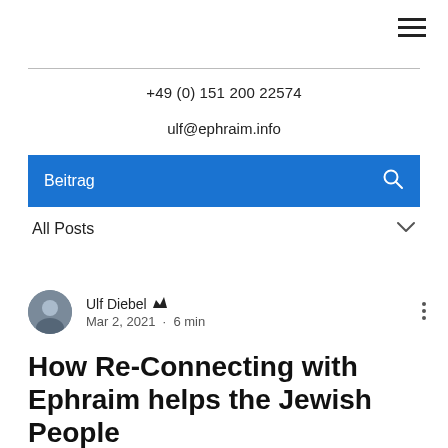☰ (hamburger menu)
+49 (0) 151 200 22574
ulf@ephraim.info
Beitrag
All Posts
Ulf Diebel 👑 Mar 2, 2021 · 6 min
How Re-Connecting with Ephraim helps the Jewish People